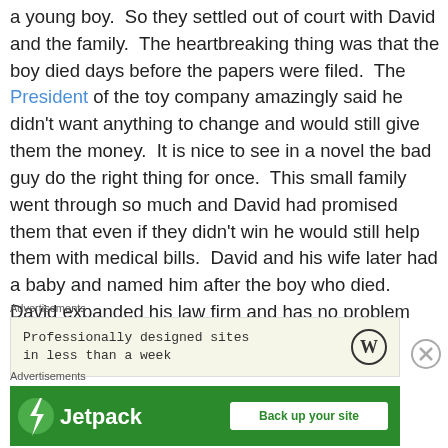a young boy. So they settled out of court with David and the family. The heartbreaking thing was that the boy died days before the papers were filed. The President of the toy company amazingly said he didn't want anything to change and would still give them the money. It is nice to see in a novel the bad guy do the right thing for once. This small family went through so much and David had promised them that even if they didn't win he would still help them with medical bills. David and his wife later had a baby and named him after the boy who died. David expanded his law firm and has no problem litigating cases.
Advertisements
[Figure (other): Advertisement banner: beige background with text 'Professionally designed sites in less than a week' and WordPress logo on the right. Close button (circled X) at top right.]
Advertisements
[Figure (other): Jetpack advertisement banner: green background with Jetpack logo (lightning bolt icon) and 'Jetpack' text on the left, white 'Back up your site' button on the right.]